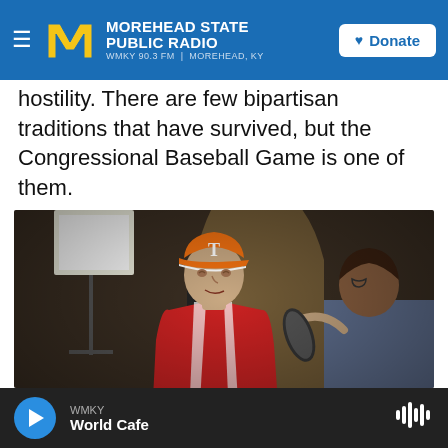Morehead State Public Radio — WMKY 90.3 FM | Morehead, KY — Donate
hostility. There are few bipartisan traditions that have survived, but the Congressional Baseball Game is one of them.
[Figure (photo): A man wearing an orange Tennessee baseball cap and a red baseball jersey being interviewed by a woman holding a microphone, in what appears to be a Capitol building hallway with film lighting equipment in the background.]
WMKY — World Cafe